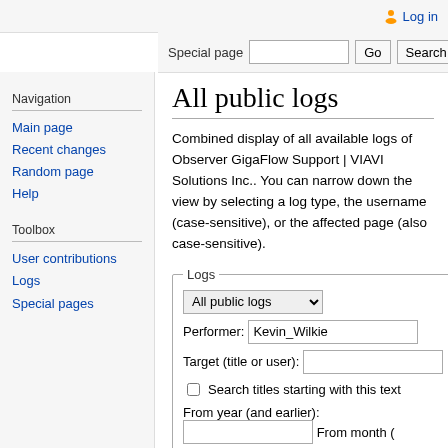Log in
Special page  Go  Search
All public logs
Combined display of all available logs of Observer GigaFlow Support | VIAVI Solutions Inc.. You can narrow down the view by selecting a log type, the username (case-sensitive), or the affected page (also case-sensitive).
Logs
All public logs
Performer: Kevin_Wilkie
Target (title or user):
Search titles starting with this text
From year (and earlier):
From month (and earlier): all
Navigation
Main page
Recent changes
Random page
Help
Toolbox
User contributions
Logs
Special pages